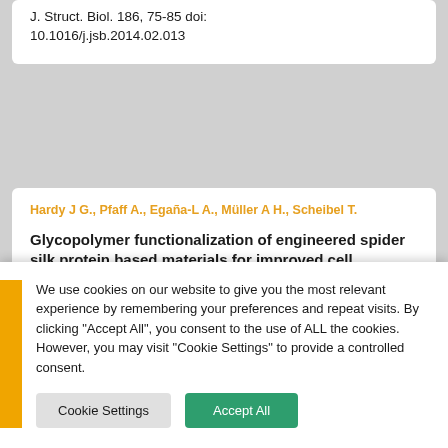J. Struct. Biol. 186, 75-85 doi: 10.1016/j.jsb.2014.02.013
Hardy J G., Pfaff A., Egaña-L A., Müller A H., Scheibel T.
Glycopolymer functionalization of engineered spider silk protein based materials for improved cell adhesion
Macromol. Biosci. 14, 936-42
We use cookies on our website to give you the most relevant experience by remembering your preferences and repeat visits. By clicking "Accept All", you consent to the use of ALL the cookies. However, you may visit "Cookie Settings" to provide a controlled consent.